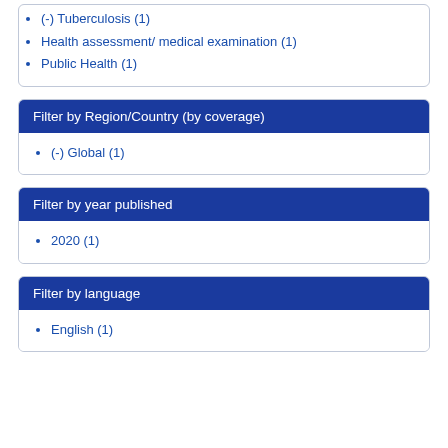(-) Tuberculosis (1)
Health assessment/ medical examination (1)
Public Health (1)
Filter by Region/Country (by coverage)
(-) Global (1)
Filter by year published
2020 (1)
Filter by language
English (1)